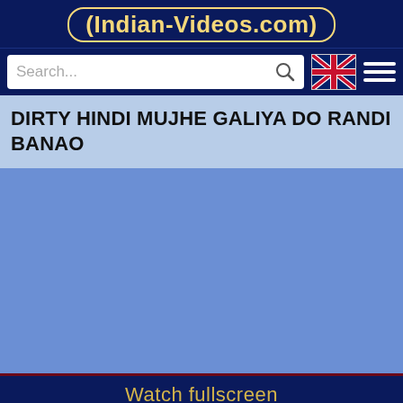Indian-Videos.com
[Figure (screenshot): Search bar with UK flag icon and hamburger menu on dark navy background]
DIRTY HINDI MUJHE GALIYA DO RANDI BANAO
[Figure (other): Blue video player area (loading/placeholder)]
Watch fullscreen